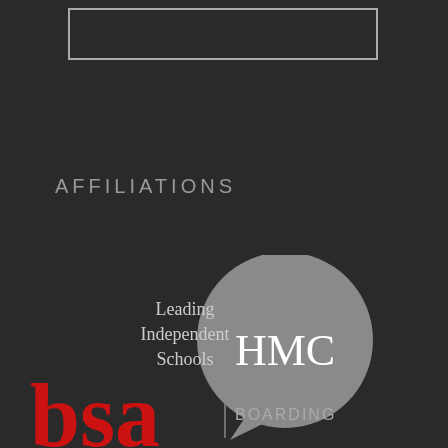[Figure (other): Rectangular outline/border at the top of the page, white or light gray stroke on dark background]
AFFILIATIONS
[Figure (logo): HMC Leading Independent Schools logo — a gray speech-bubble circle containing white text 'HMC', with text 'Leading Independent Schools' to the left]
[Figure (logo): BSA Boarding Schools Association logo — large red letters 'bsa' with '| BOARDING' text to the right, partially visible at bottom]